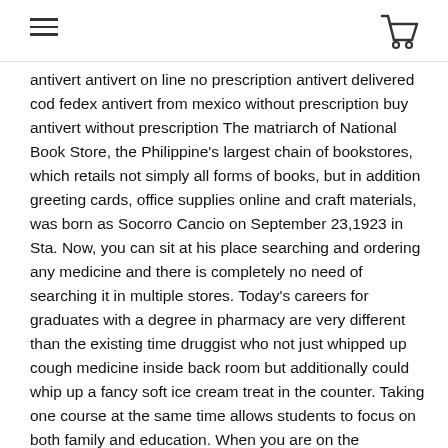[hamburger menu icon] [shopping cart icon]
antivert antivert on line no prescription antivert delivered cod fedex antivert from mexico without prescription buy antivert without prescription The matriarch of National Book Store, the Philippine's largest chain of bookstores, which retails not simply all forms of books, but in addition greeting cards, office supplies online and craft materials, was born as Socorro Cancio on September 23,1923 in Sta. Now, you can sit at his place searching and ordering any medicine and there is completely no need of searching it in multiple stores. Today's careers for graduates with a degree in pharmacy are very different than the existing time druggist who not just whipped up cough medicine inside back room but additionally could whip up a fancy soft ice cream treat in the counter. Taking one course at the same time allows students to focus on both family and education. When you are on the pharmacy counter, be it to fall off or get put your phone down. Cu transformed a fairly easy data entry service provider into becoming one from the country's largest